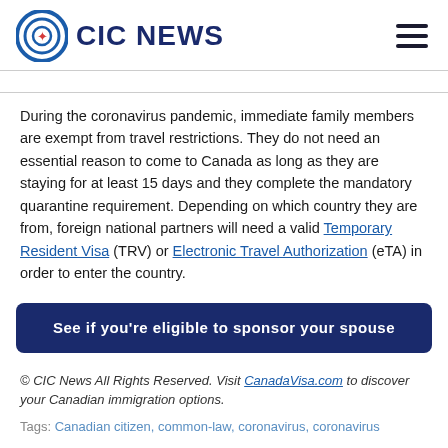CIC NEWS
During the coronavirus pandemic, immediate family members are exempt from travel restrictions. They do not need an essential reason to come to Canada as long as they are staying for at least 15 days and they complete the mandatory quarantine requirement. Depending on which country they are from, foreign national partners will need a valid Temporary Resident Visa (TRV) or Electronic Travel Authorization (eTA) in order to enter the country.
See if you're eligible to sponsor your spouse
© CIC News All Rights Reserved. Visit CanadaVisa.com to discover your Canadian immigration options.
Tags: Canadian citizen, common-law, coronavirus, coronavirus